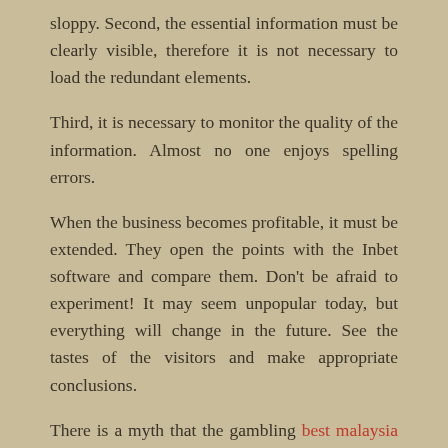sloppy. Second, the essential information must be clearly visible, therefore it is not necessary to load the redundant elements.
Third, it is necessary to monitor the quality of the information. Almost no one enjoys spelling errors.
When the business becomes profitable, it must be extended. They open the points with the Inbet software and compare them. Don't be afraid to experiment! It may seem unpopular today, but everything will change in the future. See the tastes of the visitors and make appropriate conclusions.
There is a myth that the gambling best malaysia online casino industry in Peru is not for beginners, but it is not. Even the largest retailers are unable to survey the entire gaming industry market. Internet allows you to equalize the possibilities of companies that have been